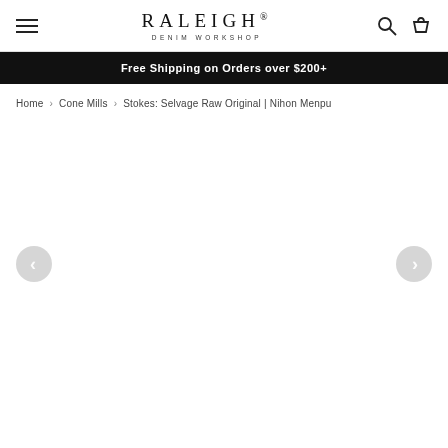RALEIGH® DENIM WORKSHOP — navigation header with hamburger menu, logo, search and cart icons
Free Shipping on Orders over $200+
Home › Cone Mills › Stokes: Selvage Raw Original | Nihon Menpu
[Figure (other): Product image carousel area — currently blank/loading, with left and right navigation arrows on either side]